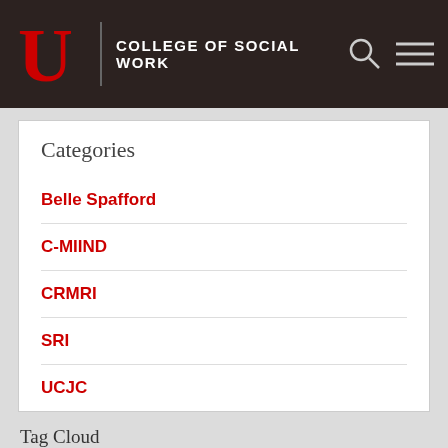COLLEGE OF SOCIAL WORK
Categories
Belle Spafford
C-MIIND
CRMRI
SRI
UCJC
Tag Cloud
Garland Chronic pain Cognition Heart rate variability Inhibitory control Opioid